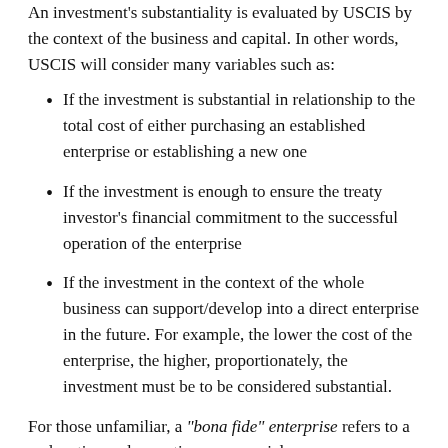An investment's substantiality is evaluated by USCIS by the context of the business and capital. In other words, USCIS will consider many variables such as:
If the investment is substantial in relationship to the total cost of either purchasing an established enterprise or establishing a new one
If the investment is enough to ensure the treaty investor's financial commitment to the successful operation of the enterprise
If the investment in the context of the whole business can support/develop into a direct enterprise in the future. For example, the lower the cost of the enterprise, the higher, proportionately, the investment must be to be considered substantial.
For those unfamiliar, a “bona fide” enterprise refers to a real, active and operating commercial or